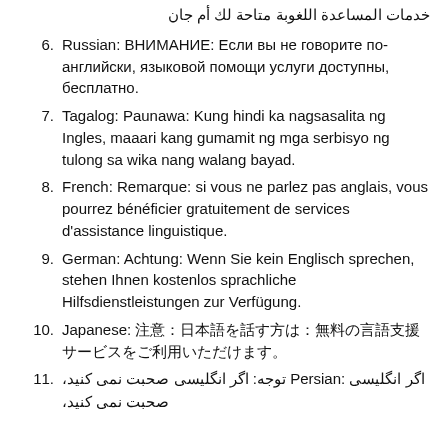(continuation of item 5, Arabic) خدمات المساعدة اللغوبة متاحة لك أم جان
6. Russian: ВНИМАНИЕ: Если вы не говорите по-английски, языковой помощи услуги доступны, бесплатно.
7. Tagalog: Paunawa: Kung hindi ka nagsasalita ng Ingles, maaari kang gumamit ng mga serbisyo ng tulong sa wika nang walang bayad.
8. French: Remarque: si vous ne parlez pas anglais, vous pourrez bénéficier gratuitement de services d'assistance linguistique.
9. German: Achtung: Wenn Sie kein Englisch sprechen, stehen Ihnen kostenlos sprachliche Hilfsdienstleistungen zur Verfügung.
10. Japanese: 注意：日本語を話す方は、無料の言語支援サービスをご利用いただけます。
11. Persian: توجه: اگر انگلیسی صحبت نمی کنید، (continuation below)